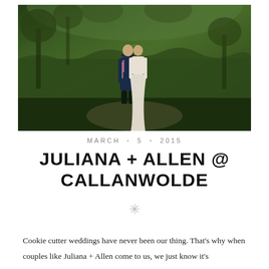[Figure (photo): A couple standing together in front of lush green trees and hedges. The man is wearing a navy suit with a pink tie, and the woman is in a white wedding dress. They are embracing with their heads together.]
MARCH • 5 • 2015
JULIANA + ALLEN @ CALLANWOLDE
Cookie cutter weddings have never been our thing. That's why when couples like Juliana + Allen come to us, we just know it's